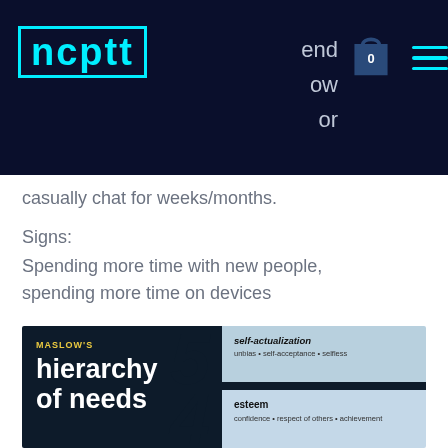ncptt — navigation header with logo, bag icon, and hamburger menu
casually chat for weeks/months.
Signs:
Spending more time with new people, spending more time on devices
Stage 3: Filling a need
[Figure (infographic): Maslow's Hierarchy of Needs pyramid infographic showing levels 5 (self-actualization: unbias, self-acceptance, selfless) and 4 (esteem: confidence, respect of others, achievement), with dark navy and light blue sections and large italic numbers.]